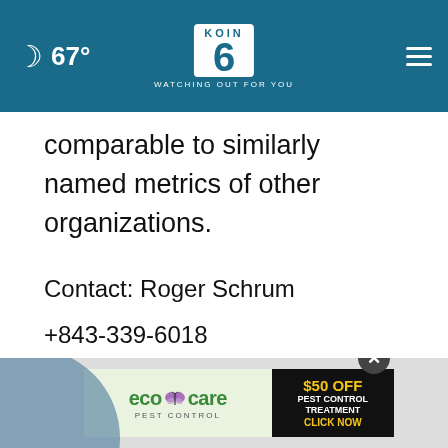67° KOIN 6 WATCHING OUT FOR YOU
comparable to similarly named metrics of other organizations.
Contact: Roger Schrum
+843-339-6018
roger.schrum@sonoco.com
[Figure (infographic): eco*care PEST CONTROL advertisement with $50 OFF PEST CONTROL TREATMENT CLICK NOW banner]